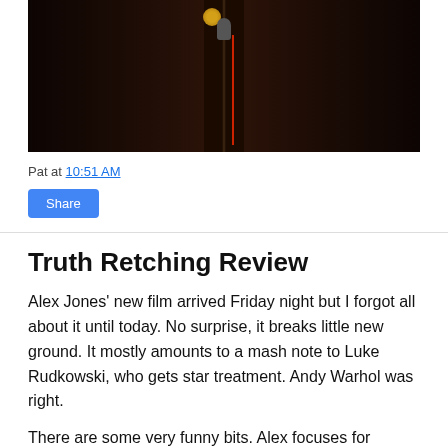[Figure (photo): Dark photograph of a microphone stand with a medal/emblem at top, red cord hanging down, dark wooden background]
Pat at 10:51 AM
Share
Truth Retching Review
Alex Jones' new film arrived Friday night but I forgot all about it until today. No surprise, it breaks little new ground. It mostly amounts to a mash note to Luke Rudkowski, who gets star treatment. Andy Warhol was right.
There are some very funny bits. Alex focuses for awhile on those two guys walking across America for 9-11 Troof and